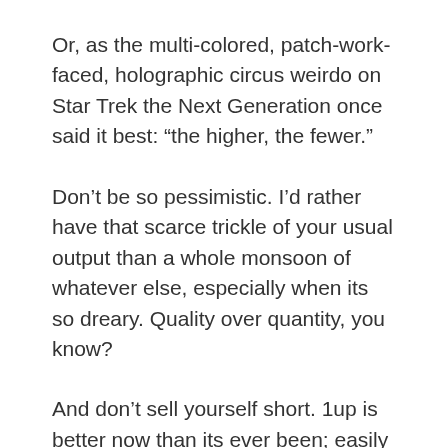Or, as the multi-colored, patch-work-faced, holographic circus weirdo on Star Trek the Next Generation once said it best: “the higher, the fewer.”
Don’t be so pessimistic. I’d rather have that scarce trickle of your usual output than a whole monsoon of whatever else, especially when its so dreary. Quality over quantity, you know?
And don’t sell yourself short. 1up is better now than its ever been; easily my favorite general gaming site — and you